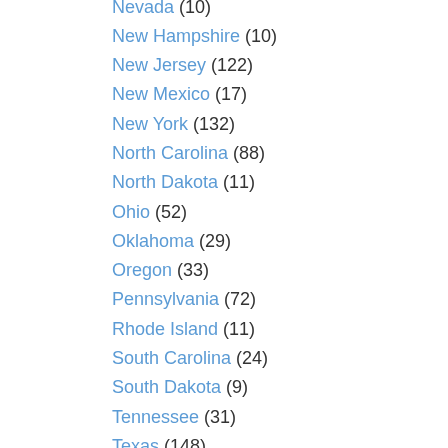Nevada (10)
New Hampshire (10)
New Jersey (122)
New Mexico (17)
New York (132)
North Carolina (88)
North Dakota (11)
Ohio (52)
Oklahoma (29)
Oregon (33)
Pennsylvania (72)
Rhode Island (11)
South Carolina (24)
South Dakota (9)
Tennessee (31)
Texas (148)
Uncategorized (2)
Utah (37)
Vermont (3)
Virginia (41)
Washington (85)
West Virginia (9)